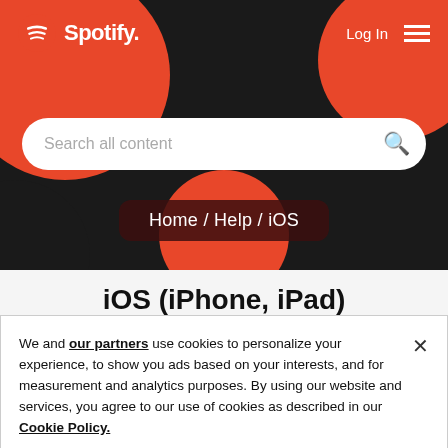[Figure (screenshot): Spotify website header with dark background, red decorative circles, Spotify logo top left, Log In text and hamburger menu top right, search bar with 'Search all content' placeholder]
Home / Help / iOS
iOS (iPhone, iPad)
We and our partners use cookies to personalize your experience, to show you ads based on your interests, and for measurement and analytics purposes. By using our website and services, you agree to our use of cookies as described in our Cookie Policy.